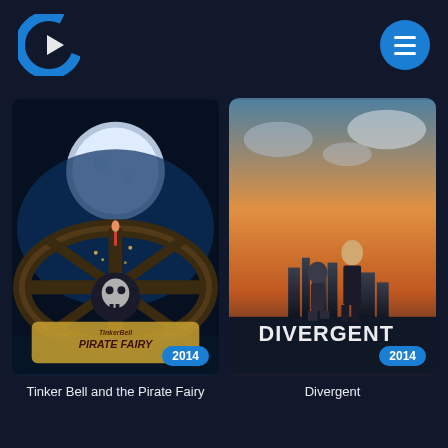[Figure (logo): Streaming app logo - letter C shape in blue and white]
[Figure (screenshot): Menu hamburger icon button in blue circle]
[Figure (photo): Tinker Bell and the Pirate Fairy movie poster, 2014, showing fairy on ship's wheel in moonlight]
[Figure (photo): Divergent movie poster, 2014, showing two characters against city skyline at sunset]
Tinker Bell and the Pirate Fairy
Divergent